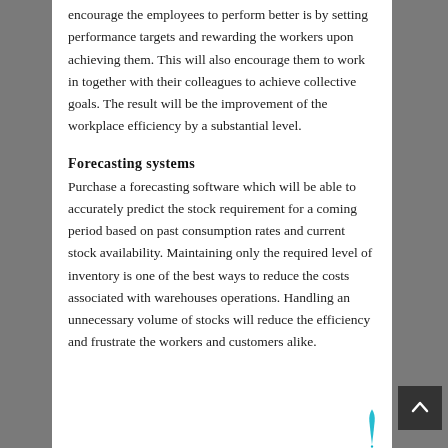encourage the employees to perform better is by setting performance targets and rewarding the workers upon achieving them. This will also encourage them to work in together with their colleagues to achieve collective goals. The result will be the improvement of the workplace efficiency by a substantial level.
Forecasting systems
Purchase a forecasting software which will be able to accurately predict the stock requirement for a coming period based on past consumption rates and current stock availability. Maintaining only the required level of inventory is one of the best ways to reduce the costs associated with warehouses operations. Handling an unnecessary volume of stocks will reduce the efficiency and frustrate the workers and customers alike.